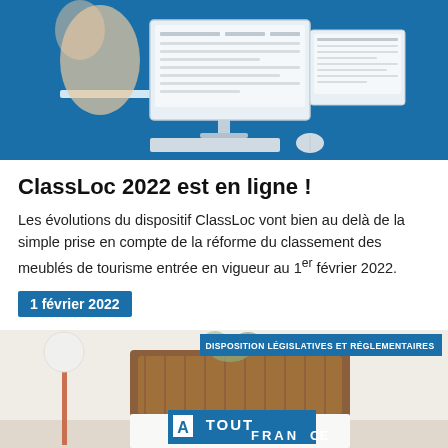[Figure (photo): Photo of a person pointing at a computer monitor showing a software interface, with a blue background]
ClassLoc 2022 est en ligne !
Les évolutions du dispositif ClassLoc vont bien au delà de la simple prise en compte de la réforme du classement des meublés de tourisme entrée en vigueur au 1er février 2022.
1 février 2022
[Figure (photo): Photo of a bedroom interior with a lamp and wooden headboard, overlaid with 'DISPOSITION LÉGISLATIVES ET RÉGLEMENTAIRES' banner and Atout France logo]